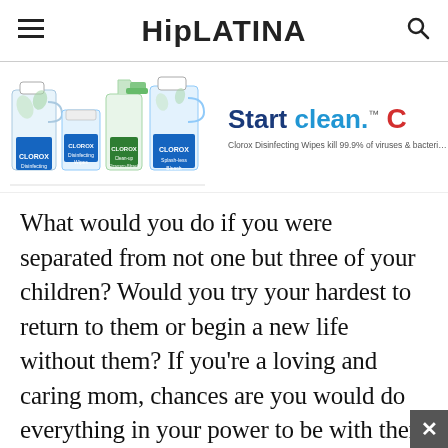HipLATINA
[Figure (screenshot): Clorox advertisement banner showing Clorox cleaning products (bleach, disinfecting wipes, cleanser+bleach bottles) on the left, and 'Start clean.' text in dark blue and teal on the right with tagline 'Clorox Disinfecting Wipes kill 99.9% of viruses & bacteria']
What would you do if you were separated from not one but three of your children? Would you try your hardest to return to them or begin a new life without them? If you're a loving and caring mom, chances are you would do everything in your power to be with them no